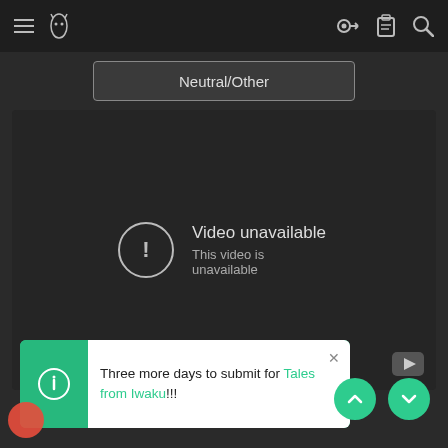Navigation bar with hamburger menu, logo icon, key icon, clipboard icon, search icon
Neutral/Other
[Figure (screenshot): Video player showing unavailable video with message: Video unavailable - This video is unavailable]
Three more days to submit for Tales from Iwaku!!!